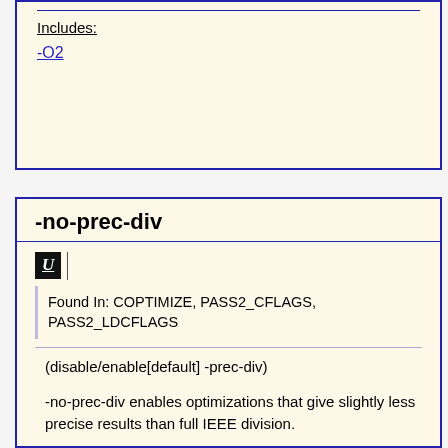Includes:
-O2
-no-prec-div
[Figure (other): U icon button]
Found In: COPTIMIZE, PASS2_CFLAGS, PASS2_LDCFLAGS
(disable/enable[default] -prec-div)
-no-prec-div enables optimizations that give slightly less precise results than full IEEE division.
When you specify -no-prec-div along with some optimizations, such as -xN and -xB (Linux) or /QxN and /QxB (Windows), the compiler may change floating-point division computations into multiplication by the reciprocal of the